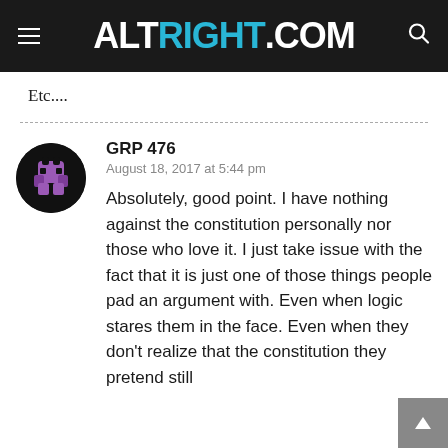ALTRIGHT.COM
Etc....
GRP 476
August 18, 2017 at 5:44 pm

Absolutely, good point. I have nothing against the constitution personally nor those who love it. I just take issue with the fact that it is just one of those things people pad an argument with. Even when logic stares them in the face. Even when they don't realize that the constitution they pretend still